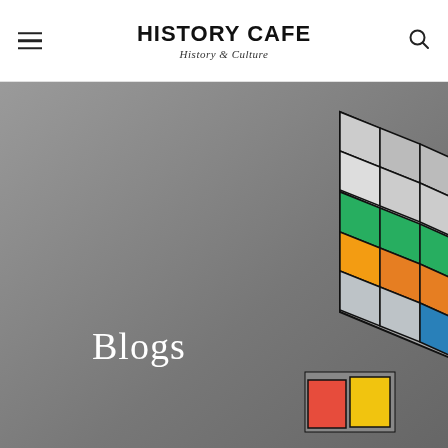HISTORY CAFE — History & Culture
[Figure (photo): A Rubik's cube photograph against a grey background, showing colorful tiles — green, orange, yellow, blue, white, red — with the cube partially solved. The image fills the lower three-quarters of the page.]
Blogs